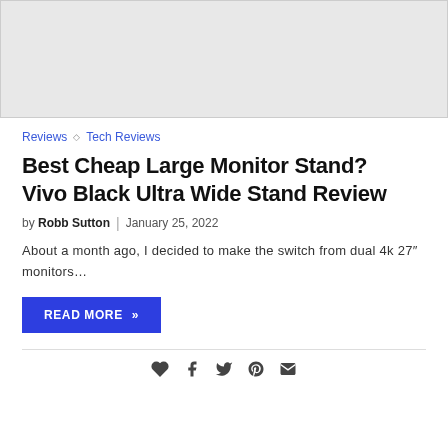[Figure (photo): Gray placeholder image area at the top of the page]
Reviews ◇ Tech Reviews
Best Cheap Large Monitor Stand? Vivo Black Ultra Wide Stand Review
by Robb Sutton | January 25, 2022
About a month ago, I decided to make the switch from dual 4k 27" monitors…
READ MORE »
[Figure (infographic): Social sharing icons: heart, Facebook, Twitter, Pinterest, email]